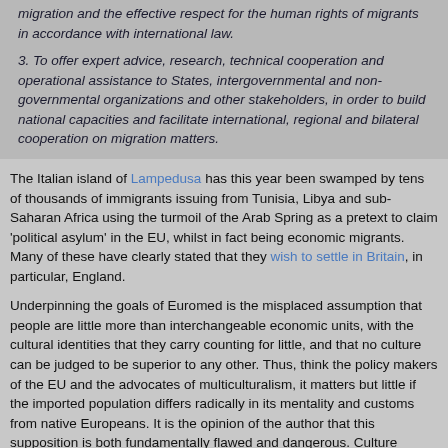migration and the effective respect for the human rights of migrants in accordance with international law.
3. To offer expert advice, research, technical cooperation and operational assistance to States, intergovernmental and non-governmental organizations and other stakeholders, in order to build national capacities and facilitate international, regional and bilateral cooperation on migration matters.
The Italian island of Lampedusa has this year been swamped by tens of thousands of immigrants issuing from Tunisia, Libya and sub-Saharan Africa using the turmoil of the Arab Spring as a pretext to claim ‘political asylum’ in the EU, whilst in fact being economic migrants. Many of these have clearly stated that they wish to settle in Britain, in particular, England.
Underpinning the goals of Euromed is the misplaced assumption that people are little more than interchangeable economic units, with the cultural identities that they carry counting for little, and that no culture can be judged to be superior to any other. Thus, think the policy makers of the EU and the advocates of multiculturalism, it matters but little if the imported population differs radically in its mentality and customs from native Europeans. It is the opinion of the author that this supposition is both fundamentally flawed and dangerous. Culture matters greatly.